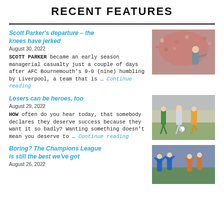RECENT FEATURES
Scott Parker's departure – the knees have jerked
August 30, 2022
SCOTT PARKER became an early season managerial casualty just a couple of days after AFC Bournemouth's 9-0 (nine) humbling by Liverpool, a team that is … Continue reading
[Figure (photo): Crowd scene with a manager gesturing on a football pitch sideline]
Losers can be heroes, too
August 29, 2022
HOW often do you hear today, that somebody declares they deserve success because they want it so badly? Wanting something doesn't mean you deserve to … Continue reading
[Figure (photo): Football players in action on a pitch, vintage photo]
Boring? The Champions League is still the best we've got
August 26, 2022
[Figure (photo): Football players celebrating or reacting on pitch, blue and orange kits]